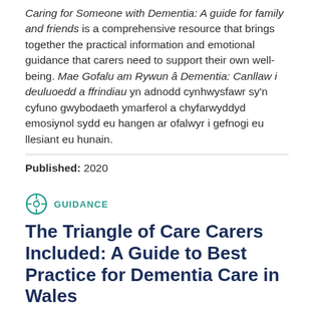Caring for Someone with Dementia: A guide for family and friends is a comprehensive resource that brings together the practical information and emotional guidance that carers need to support their own well-being. Mae Gofalu am Rywun â Dementia: Canllaw i deuluoedd a ffrindiau yn adnodd cynhwysfawr sy'n cyfuno gwybodaeth ymarferol a chyfarwyddyd emosiynol sydd eu hangen ar ofalwyr i gefnogi eu llesiant eu hunain.
Published: 2020
GUIDANCE
The Triangle of Care Carers Included: A Guide to Best Practice for Dementia Care in Wales
Carers Trust Wales and the Royal College of Nursing